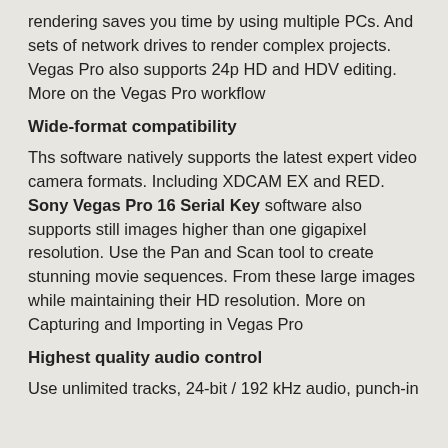rendering saves you time by using multiple PCs. And sets of network drives to render complex projects. Vegas Pro also supports 24p HD and HDV editing. More on the Vegas Pro workflow
Wide-format compatibility
Ths software natively supports the latest expert video camera formats. Including XDCAM EX and RED. Sony Vegas Pro 16 Serial Key software also supports still images higher than one gigapixel resolution. Use the Pan and Scan tool to create stunning movie sequences. From these large images while maintaining their HD resolution. More on Capturing and Importing in Vegas Pro
Highest quality audio control
Use unlimited tracks, 24-bit / 192 kHz audio, punch-in